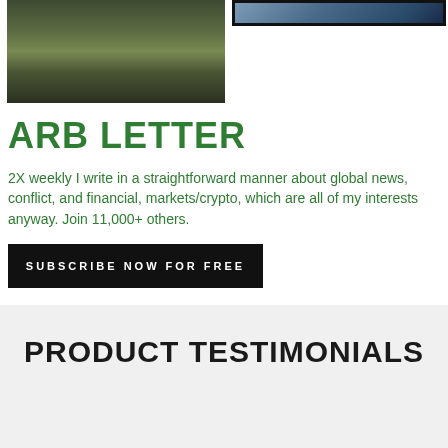[Figure (photo): Person in camouflage gear standing outdoors in a wooded/winter setting]
[Figure (photo): Partial image of a map or aerial/geographic photo in upper right corner]
ARB LETTER
2X weekly I write in a straightforward manner about global news, conflict, and financial, markets/crypto, which are all of my interests anyway. Join 11,000+ others.
SUBSCRIBE NOW FOR FREE
PRODUCT TESTIMONIALS